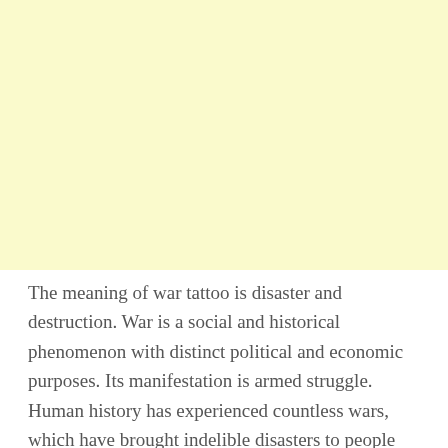[Figure (other): Large light yellow rectangular block occupying the upper portion of the page]
The meaning of war tattoo is disaster and destruction. War is a social and historical phenomenon with distinct political and economic purposes. Its manifestation is armed struggle. Human history has experienced countless wars, which have brought indelible disasters to people